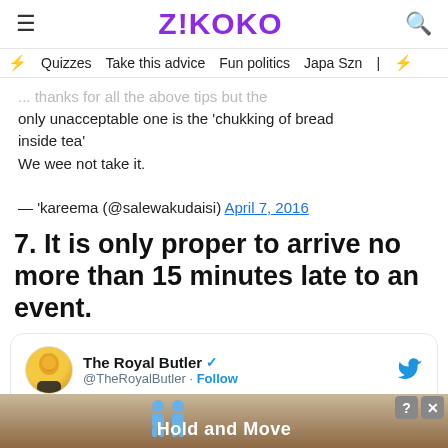Z!KOKO
Quizzes   Take this advice   Fun politics   Japa Szn
... thanks for all the above tips but the only unacceptable one is the 'chukking of bread inside tea'
We wee not take it.

— 'kareema (@salewakudaisi) April 7, 2016
7. It is only proper to arrive no more than 15 minutes late to an event.
[Figure (screenshot): Embedded tweet from @TheRoyalButler: 'When invited to dinner party for 7.30pm never arrive before the advised time and don't arrive more than 15mins late']
[Figure (infographic): Ad banner showing 'Hold and Move' with figure icons at bottom of page]